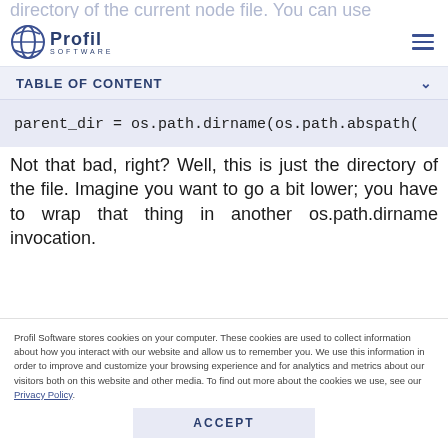directory of the current node file. You can use
[Figure (logo): Profil Software logo with stylized globe icon and company name]
TABLE OF CONTENT
Not that bad, right? Well, this is just the directory of the file. Imagine you want to go a bit lower; you have to wrap that thing in another os.path.dirname invocation.
Profil Software stores cookies on your computer. These cookies are used to collect information about how you interact with our website and allow us to remember you. We use this information in order to improve and customize your browsing experience and for analytics and metrics about our visitors both on this website and other media. To find out more about the cookies we use, see our Privacy Policy.